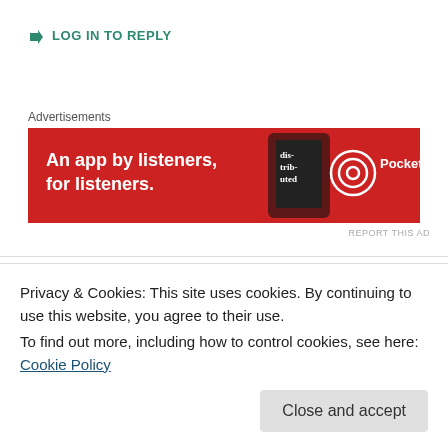↳ LOG IN TO REPLY
Advertisements
[Figure (other): Pocket Casts app advertisement banner: red background, text 'An app by listeners, for listeners.' with phone image and Pocket Casts logo]
REPORT THIS AD
Sue Dreamwalker
NOVEMBER 15, 2017 AT 3:51 PM
Dear Tina, a delight to read in full over at Sally's and I will leave here what I left there my friend . Much love to you and have a beautiful peaceful Week
Privacy & Cookies: This site uses cookies. By continuing to use this website, you agree to their use.
To find out more, including how to control cookies, see here: Cookie Policy
Close and accept
sabotaging ourselves as we talk ourselves out of